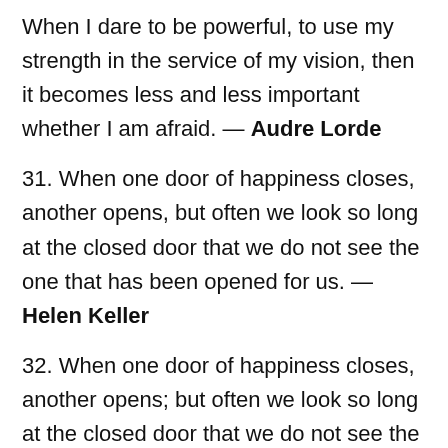When I dare to be powerful, to use my strength in the service of my vision, then it becomes less and less important whether I am afraid. — Audre Lorde
31. When one door of happiness closes, another opens, but often we look so long at the closed door that we do not see the one that has been opened for us. — Helen Keller
32. When one door of happiness closes, another opens; but often we look so long at the closed door that we do not see the one which has been opened for us. — Helen Keller